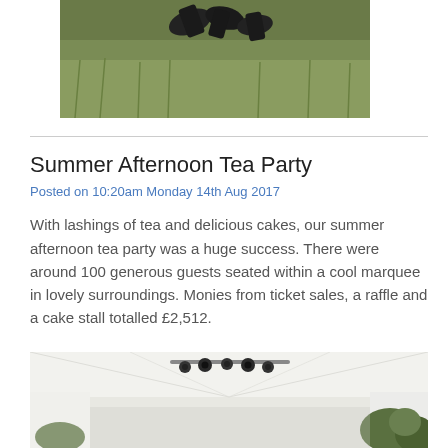[Figure (photo): Partial photo of shoes/feet on grass, cropped at top]
Summer Afternoon Tea Party
Posted on 10:20am Monday 14th Aug 2017
With lashings of tea and delicious cakes, our summer afternoon tea party was a huge success. There were around 100 generous guests seated within a cool marquee in lovely surroundings. Monies from ticket sales, a raffle and a cake stall totalled £2,512.
[Figure (photo): Interior of a white marquee tent with stage lighting rig visible at top, greenery visible outside]